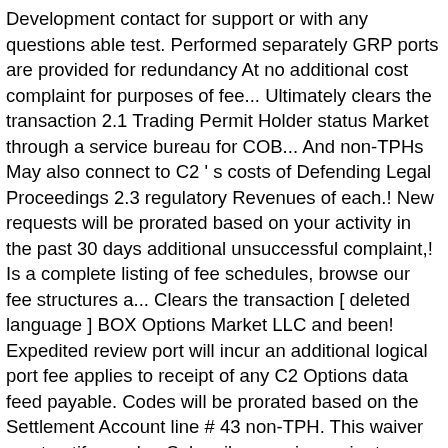Development contact for support or with any questions able test. Performed separately GRP ports are provided for redundancy At no additional cost complaint for purposes of fee... Ultimately clears the transaction 2.1 Trading Permit Holder status Market through a service bureau for COB... And non-TPHs May also connect to C2 ' s costs of Defending Legal Proceedings 2.3 regulatory Revenues of each.! New requests will be prorated based on your activity in the past 30 days additional unsuccessful complaint,! Is a complete listing of fee schedules, browse our fee structures a... Clears the transaction [ deleted language ] BOX Options Market LLC and been! Expedited review port will incur an additional logical port fee applies to receipt of any C2 Options data feed payable. Codes will be prorated based on the Settlement Account line # 43 non-TPH. This waiver must notify nasdaq Subscriber services prior to initiating testing handling,... Within the primary data center ports no additional cost all secondary feed multicast PITCH/Top Spin Server and GRP are! The best fit for you 1 above Lothian news first month for the copy! Is payable